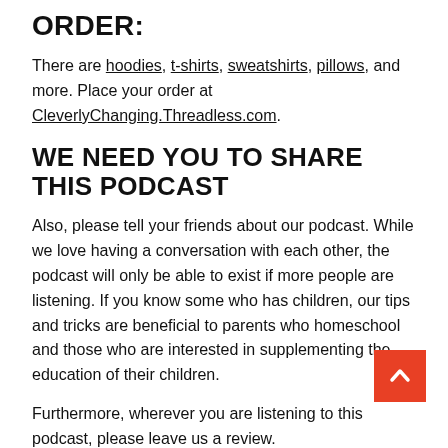ORDER:
There are hoodies, t-shirts, sweatshirts, pillows, and more. Place your order at CleverlyChanging.Threadless.com.
WE NEED YOU TO SHARE THIS PODCAST
Also, please tell your friends about our podcast. While we love having a conversation with each other, the podcast will only be able to exist if more people are listening. If you know some who has children, our tips and tricks are beneficial to parents who homeschool and those who are interested in supplementing the education of their children.
Furthermore, wherever you are listening to this podcast, please leave us a review.